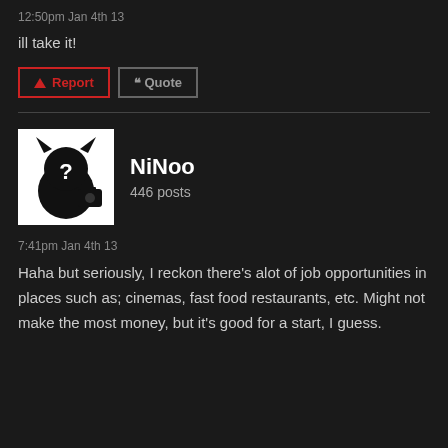12:50pm Jan 4th 13
ill take it!
[Figure (screenshot): Report and Quote buttons. Report has red border with triangle warning icon. Quote has grey border with quotation mark icon.]
[Figure (illustration): User avatar: black and white silhouette of a creature with a question mark]
NiNoo
446 posts
7:41pm Jan 4th 13
Haha but seriously, I reckon there's alot of job opportunities in places such as; cinemas, fast food restaurants, etc. Might not make the most money, but it's good for a start, I guess.